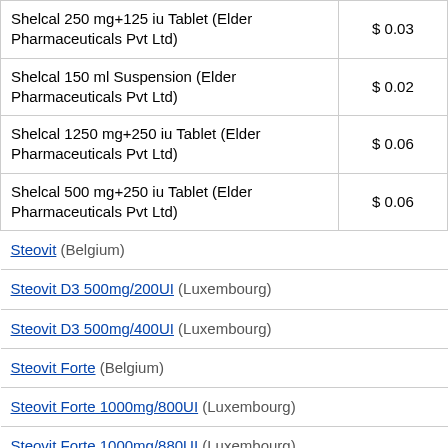| Product | Price |
| --- | --- |
| Shelcal 250 mg+125 iu Tablet (Elder Pharmaceuticals Pvt Ltd) | $ 0.03 |
| Shelcal 150 ml Suspension (Elder Pharmaceuticals Pvt Ltd) | $ 0.02 |
| Shelcal 1250 mg+250 iu Tablet (Elder Pharmaceuticals Pvt Ltd) | $ 0.06 |
| Shelcal 500 mg+250 iu Tablet (Elder Pharmaceuticals Pvt Ltd) | $ 0.06 |
| Steovit (Belgium) |  |
| Steovit D3 500mg/200UI (Luxembourg) |  |
| Steovit D3 500mg/400UI (Luxembourg) |  |
| Steovit Forte (Belgium) |  |
| Steovit Forte 1000mg/800UI (Luxembourg) |  |
| Steovit Forte 1000mg/880UI (Luxembourg) |  |